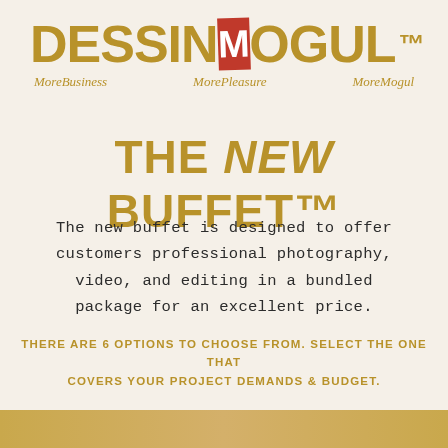[Figure (logo): Dessin Mogul logo with red M box, gold text DESSIN and OGUL, with TM mark]
MoreBusiness   MorePleasure   MoreMogul
THE NEW BUFFET™
The new buffet is designed to offer customers professional photography, video, and editing in a bundled package for an excellent price.
THERE ARE 6 OPTIONS TO CHOOSE FROM. SELECT THE ONE THAT COVERS YOUR PROJECT DEMANDS & BUDGET.